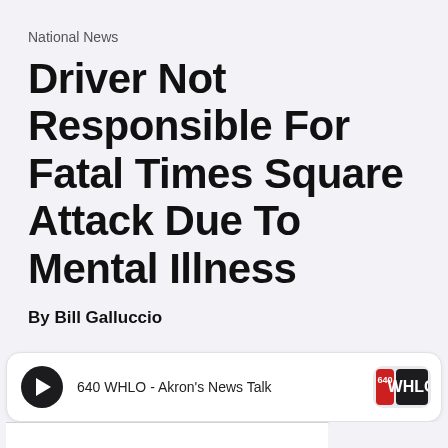National News
Driver Not Responsible For Fatal Times Square Attack Due To Mental Illness
By Bill Galluccio
[Figure (other): Audio player widget for 640 WHLO - Akron's News Talk radio station, with a play button and station logo]